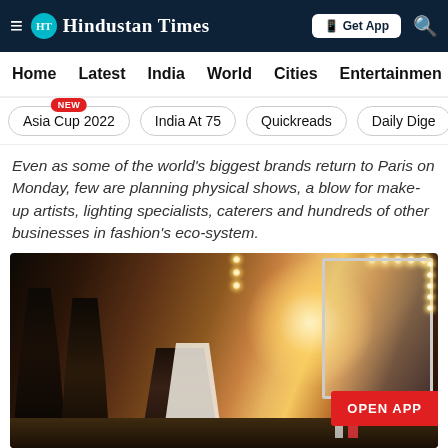Hindustan Times
Home | Latest | India | World | Cities | Entertainment
Asia Cup 2022 NEW | India At 75 | Quickreads | Daily Dige
Even as some of the world's biggest brands return to Paris on Monday, few are planning physical shows, a blow for make-up artists, lighting specialists, caterers and hundreds of other businesses in fashion's eco-system.
[Figure (photo): Backstage at a fashion show: make-up artists and models at a vanity mirror station with warm lighting, people gathered around lit mirrors in a dark backstage environment. An 'OPEN APP' red button overlay is visible in the bottom right.]